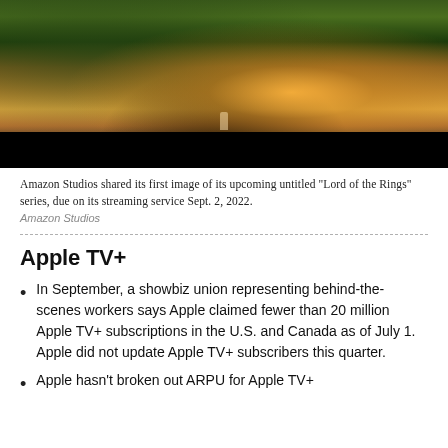[Figure (photo): A cinematic fantasy landscape scene from Amazon Studios showing a golden sunset over mountains and forests, with a small robed figure in the foreground, and a black bar at the bottom.]
Amazon Studios shared its first image of its upcoming untitled "Lord of the Rings" series, due on its streaming service Sept. 2, 2022.
Amazon Studios
Apple TV+
In September, a showbiz union representing behind-the-scenes workers says Apple claimed fewer than 20 million Apple TV+ subscriptions in the U.S. and Canada as of July 1. Apple did not update Apple TV+ subscribers this quarter.
Apple hasn't broken out ARPU for Apple TV+